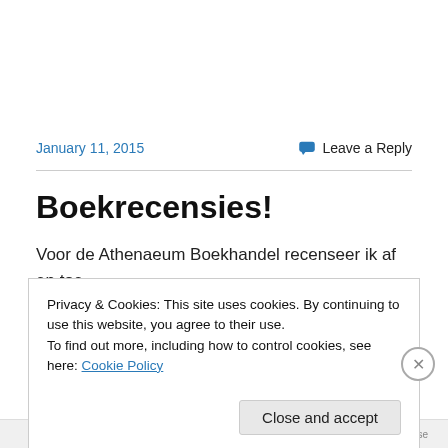January 11, 2015
Leave a Reply
Boekrecensies!
Voor de Athenaeum Boekhandel recenseer ik af en toe
Privacy & Cookies: This site uses cookies. By continuing to use this website, you agree to their use.
To find out more, including how to control cookies, see here: Cookie Policy
Close and accept